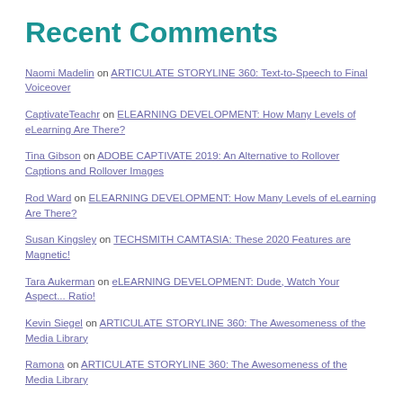Recent Comments
Naomi Madelin on ARTICULATE STORYLINE 360: Text-to-Speech to Final Voiceover
CaptivateTeachr on ELEARNING DEVELOPMENT: How Many Levels of eLearning Are There?
Tina Gibson on ADOBE CAPTIVATE 2019: An Alternative to Rollover Captions and Rollover Images
Rod Ward on ELEARNING DEVELOPMENT: How Many Levels of eLearning Are There?
Susan Kingsley on TECHSMITH CAMTASIA: These 2020 Features are Magnetic!
Tara Aukerman on eLEARNING DEVELOPMENT: Dude, Watch Your Aspect... Ratio!
Kevin Siegel on ARTICULATE STORYLINE 360: The Awesomeness of the Media Library
Ramona on ARTICULATE STORYLINE 360: The Awesomeness of the Media Library
Don on ADOBE CAPTIVATE: Getting Past the DPI Awareness Error
Eugene Williams on TEACHING TIPS: Writing Meaningful Quiz Questions